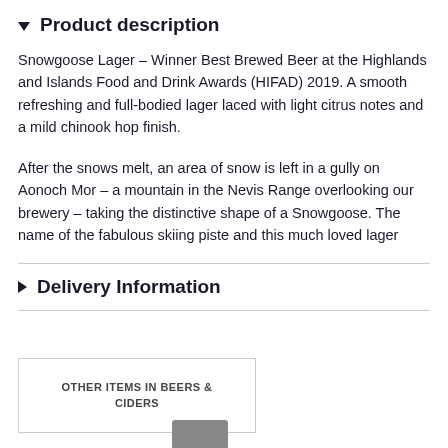Product description
Snowgoose Lager – Winner Best Brewed Beer at the Highlands and Islands Food and Drink Awards (HIFAD) 2019. A smooth refreshing and full-bodied lager laced with light citrus notes and a mild chinook hop finish.
After the snows melt, an area of snow is left in a gully on Aonoch Mor – a mountain in the Nevis Range overlooking our brewery – taking the distinctive shape of a Snowgoose. The name of the fabulous skiing piste and this much loved lager
Delivery Information
OTHER ITEMS IN BEERS & CIDERS